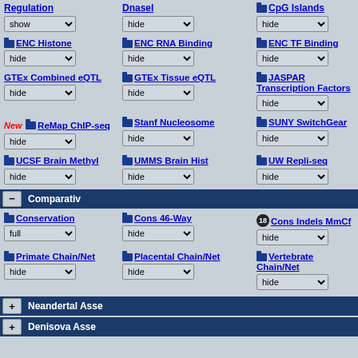Regulation / show dropdown
DnaseI / hide dropdown
CpG Islands / hide dropdown
ENC Histone / hide dropdown
ENC RNA Binding / hide dropdown
ENC TF Binding / hide dropdown
GTEx Combined eQTL / hide dropdown
GTEx Tissue eQTL / hide dropdown
JASPAR Transcription Factors / hide dropdown
New ReMap ChIP-seq / hide dropdown
Stanf Nucleosome / hide dropdown
SUNY SwitchGear / hide dropdown
UCSF Brain Methyl / hide dropdown
UMMS Brain Hist / hide dropdown
UW Repli-seq / hide dropdown
Comparative
Conservation / full dropdown
Cons 46-Way / hide dropdown
Cons Indels MmCf / hide dropdown
Primate Chain/Net / hide dropdown
Placental Chain/Net / hide dropdown
Vertebrate Chain/Net / hide dropdown
Neandertal Asse
Denisova Asse